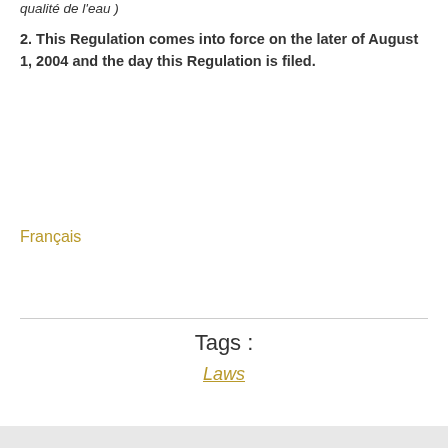qualité de l'eau )
2. This Regulation comes into force on the later of August 1, 2004 and the day this Regulation is filed.
Français
Tags :
Laws